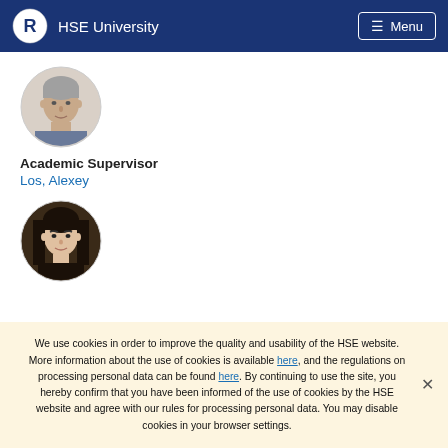HSE University   Menu
[Figure (photo): Circular portrait photo of an older man with gray hair, academic supervisor]
Academic Supervisor
Los, Alexey
[Figure (photo): Circular portrait photo of a young woman with long dark hair]
We use cookies in order to improve the quality and usability of the HSE website. More information about the use of cookies is available here, and the regulations on processing personal data can be found here. By continuing to use the site, you hereby confirm that you have been informed of the use of cookies by the HSE website and agree with our rules for processing personal data. You may disable cookies in your browser settings.